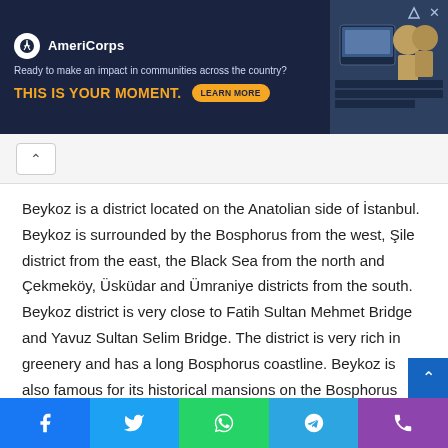[Figure (other): AmeriCorps advertisement banner: dark navy background, AmeriCorps logo (white circle with anchor icon), tagline 'Ready to make an impact in communities across the country?', bold orange text 'THIS IS YOUR MOMENT.', orange 'LEARN MORE' button. Right side shows photo of people at computers.]
Beykoz is a district located on the Anatolian side of İstanbul. Beykoz is surrounded by the Bosphorus from the west, Şile district from the east, the Black Sea from the north and Çekmeköy, Üsküdar and Ümraniye districts from the south. Beykoz district is very close to Fatih Sultan Mehmet Bridge and Yavuz Sultan Selim Bridge. The district is very rich in greenery and has a long Bosphorus coastline. Beykoz is also famous for its historical mansions on the Bosphorus
[Figure (other): Social media sharing bar with five buttons: Facebook (blue), Twitter (light blue), WhatsApp (green), Telegram (blue), Phone/Viber (purple)]